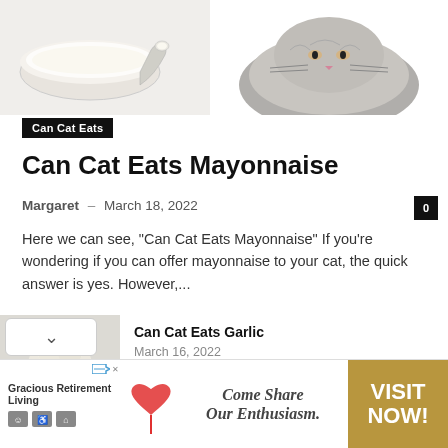[Figure (photo): Split image: left side shows mayonnaise in a bowl with a spoon, right side shows a grey cat]
Can Cat Eats
Can Cat Eats Mayonnaise
Margaret – March 18, 2022
Here we can see, "Can Cat Eats Mayonnaise" If you're wondering if you can offer mayonnaise to your cat, the quick answer is yes. However,...
Can Cat Eats Garlic
March 16, 2022
Can Cat Eats Boiled Egg
March 18, 2022
[Figure (infographic): Advertisement banner: Gracious Retirement Living – Come Share Our Enthusiasm. VISIT NOW!]